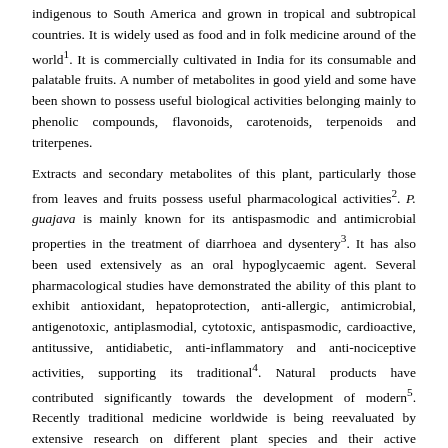indigenous to South America and grown in tropical and subtropical countries. It is widely used as food and in folk medicine around of the world1. It is commercially cultivated in India for its consumable and palatable fruits. A number of metabolites in good yield and some have been shown to possess useful biological activities belonging mainly to phenolic compounds, flavonoids, carotenoids, terpenoids and triterpenes.
Extracts and secondary metabolites of this plant, particularly those from leaves and fruits possess useful pharmacological activities2. P. guajava is mainly known for its antispasmodic and antimicrobial properties in the treatment of diarrhoea and dysentery3. It has also been used extensively as an oral hypoglycaemic agent. Several pharmacological studies have demonstrated the ability of this plant to exhibit antioxidant, hepatoprotection, anti-allergic, antimicrobial, antigenotoxic, antiplasmodial, cytotoxic, antispasmodic, cardioactive, antitussive, antidiabetic, anti-inflammatory and anti-nociceptive activities, supporting its traditional4. Natural products have contributed significantly towards the development of modern5. Recently traditional medicine worldwide is being reevaluated by extensive research on different plant species and their active therapeutic principles. The rich wealth of plant kingdom can represent a novel source of newer compounds with significant antiinflammatory activities. The major merits of herbal medicine seem to be their perceived efficacy, low incidence of serious adverse effects and low cost6.
MATERIALS AND METHODS:
Plant material: